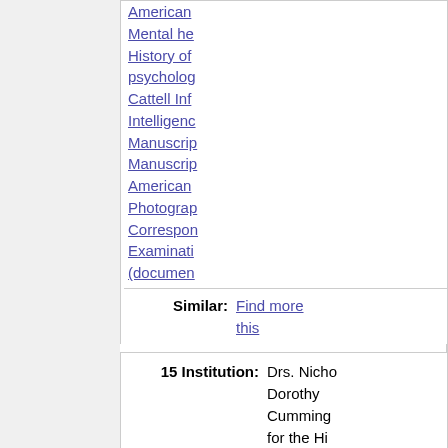American
Mental he
History of
psycholog
Cattell Inf
Intelligenc
Manuscrip
Manuscrip
American
Photograp
Correspon
Examinati
(documen
Similar: Find more this
15 Institution: Drs. Nicho Dorothy Cumming for the Hi Psycholog
Title: Richard S Lazarus pa